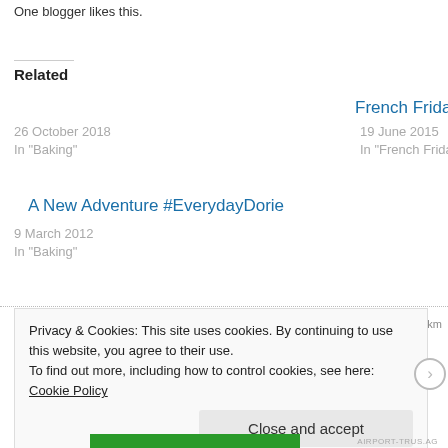One blogger likes this.
Related
A New Adventure #EverydayDorie
26 October 2018
In "Baking"
French Fridays With D
19 June 2015
In "French Fridays wi
french fridays with dorie: saint-germain-de-prés onion biscuits
9 March 2012
In "Baking"
Privacy & Cookies: This site uses cookies. By continuing to use this website, you agree to their use.
To find out more, including how to control cookies, see here: Cookie Policy
Close and accept